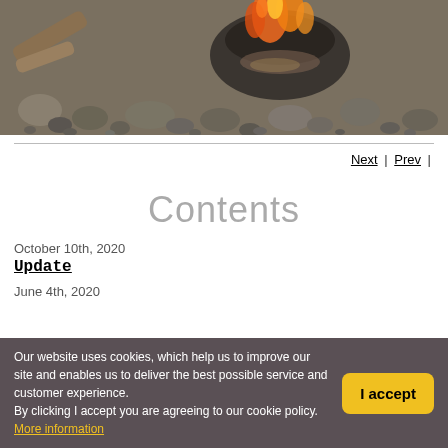[Figure (photo): A campfire with burning wood and flames over a bed of river rocks and pebbles, with pieces of firewood nearby]
Next | Prev |
Contents
October 10th, 2020
Update
June 4th, 2020
Our website uses cookies, which help us to improve our site and enables us to deliver the best possible service and customer experience. By clicking I accept you are agreeing to our cookie policy. More information